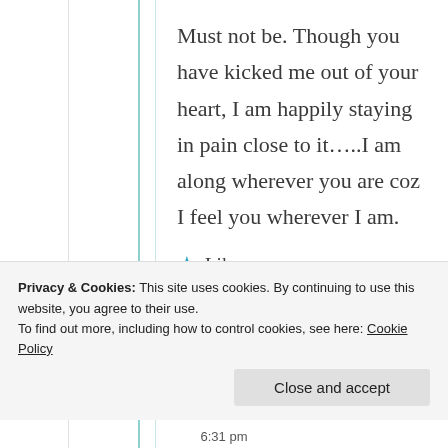Must not be. Though you have kicked me out of your heart, I am happily staying in pain close to it…..I am along wherever you are coz I feel you wherever I am.
★ Like
Privacy & Cookies: This site uses cookies. By continuing to use this website, you agree to their use. To find out more, including how to control cookies, see here: Cookie Policy
Close and accept
6:31 pm